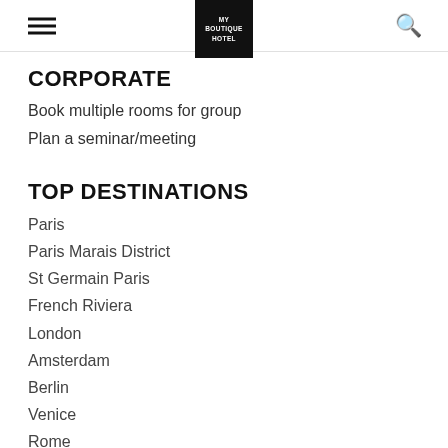MY BOUTIQUE HOTEL
CORPORATE
Book multiple rooms for group
Plan a seminar/meeting
TOP DESTINATIONS
Paris
Paris Marais District
St Germain Paris
French Riviera
London
Amsterdam
Berlin
Venice
Rome